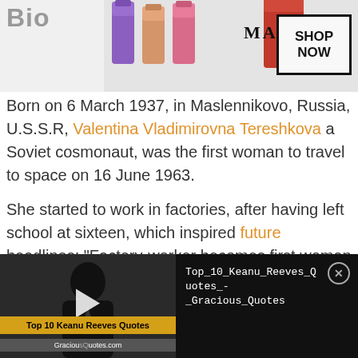[Figure (screenshot): MAC Cosmetics advertisement banner with lipsticks and SHOP NOW button]
Born on 6 March 1937, in Maslennikovo, Russia, U.S.S.R, Valentina Vladimirovna Tereshkova a Soviet cosmonaut, was the first woman to travel to space on 16 June 1963.
She started to work in factories, after having left school at sixteen, which inspired future headlines: “Factory-worker becomes first woman to fly into space.” (source)
Although unlike most cosmonauts who had prior
[Figure (screenshot): Video overlay for Top 10 Keanu Reeves Quotes from GraciousQuotes.com with play button thumbnail and text panel showing Top_10_Keanu_Reeves_Q uotes_- _Gracious_Quotes]